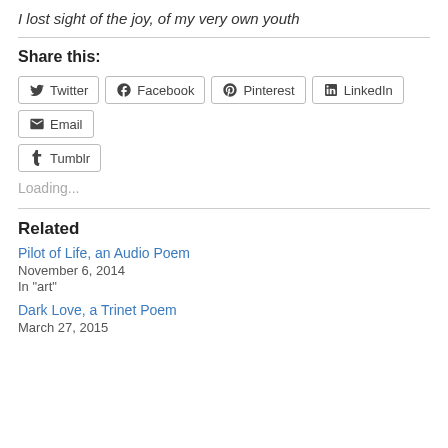I lost sight of the joy, of my very own youth
Share this:
[Figure (infographic): Social share buttons: Twitter, Facebook, Pinterest, LinkedIn, Email, Tumblr]
Loading...
Related
Pilot of Life, an Audio Poem
November 6, 2014
In "art"
Dark Love, a Trinet Poem
March 27, 2015